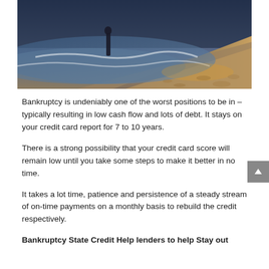[Figure (photo): A person standing at the shoreline of a beach with ocean waves washing over the sand, photographed at sunset or dusk with warm amber tones on the sand and cooler blue tones in the waves.]
Bankruptcy is undeniably one of the worst positions to be in – typically resulting in low cash flow and lots of debt. It stays on your credit card report for 7 to 10 years.
There is a strong possibility that your credit card score will remain low until you take some steps to make it better in no time.
It takes a lot time, patience and persistence of a steady stream of on-time payments on a monthly basis to rebuild the credit respectively.
Bankruptcy State Credit Help lenders to help Stay out